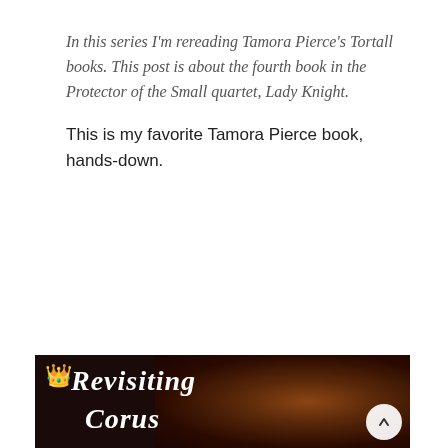In this series I'm rereading Tamora Pierce's Tortall books. This post is about the fourth book in the Protector of the Small quartet, Lady Knight.
This is my favorite Tamora Pierce book, hands-down.
Read More →
[Figure (illustration): Dark banner image with cursive white text reading 'Revisiting Corus' with a golden crown icon, overlaid on a dark background with swirling auburn hair]